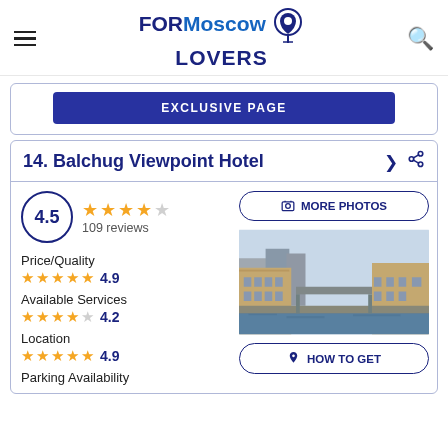FORMoscow LOVERS
EXCLUSIVE PAGE
14. Balchug Viewpoint Hotel
4.5 — 109 reviews
Price/Quality 4.9
Available Services 4.2
Location 4.9
Parking Availability
[Figure (photo): Hotel building along a Moscow canal with buildings and water]
MORE PHOTOS
HOW TO GET